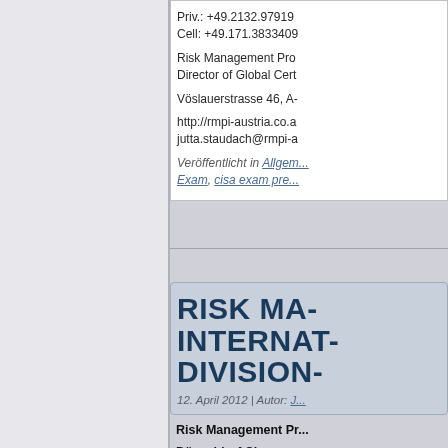Priv.: +49.2132.97919...
Cell: +49.171.3833409...
Risk Management Pro...
Director of Global Cert...
Vöslauerstrasse 46, A-...
http://rmpi-austria.co.a...
jutta.staudach@rmpi-a...
Veröffentlicht in Allgem... Exam, cisa exam pre...
RISK MA... INTERNAT... DIVISION...
12. April 2012 | Autor: J...
Risk Management Pr...
Düsseldorf Classes
CISA German 14...
Instructor: Jutta Staud...